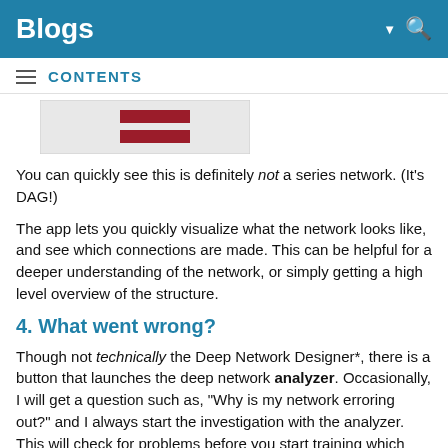Blogs
CONTENTS
[Figure (infographic): Partial screenshot showing two dark red horizontal bars on a light gray background, representing a network diagram or chart.]
You can quickly see this is definitely not a series network. (It's DAG!)
The app lets you quickly visualize what the network looks like, and see which connections are made. This can be helpful for a deeper understanding of the network, or simply getting a high level overview of the structure.
4. What went wrong?
Though not technically the Deep Network Designer*, there is a button that launches the deep network analyzer. Occasionally, I will get a question such as, "Why is my network erroring out?" and I always start the investigation with the analyzer. This will check for problems before you start training which eliminates the not-so-attractive red error message in the command
[Figure (screenshot): Partial screenshot of the Deep Network Designer application window.]